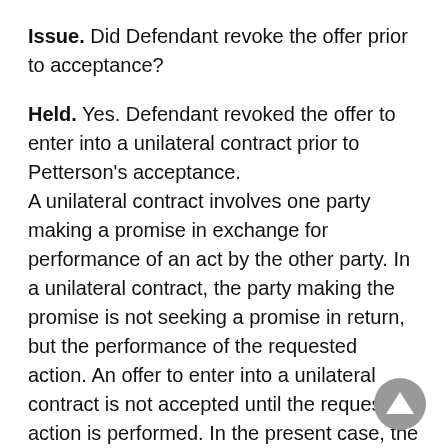Issue. Did Defendant revoke the offer prior to acceptance?
Held. Yes. Defendant revoked the offer to enter into a unilateral contract prior to Petterson's acceptance. A unilateral contract involves one party making a promise in exchange for performance of an act by the other party. In a unilateral contract, the party making the promise is not seeking a promise in return, but the performance of the requested action. An offer to enter into a unilateral contract is not accepted until the requested action is performed. In the present case, the Court determined that Defendant's letter constituted an